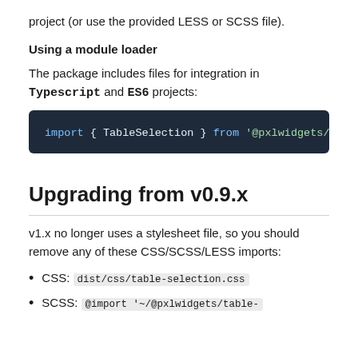project (or use the provided LESS or SCSS file).
Using a module loader
The package includes files for integration in Typescript and ES6 projects:
[Figure (screenshot): Code block showing: import { TableSelection } from '@pxlwidgets/tabl]
Upgrading from v0.9.x
v1.x no longer uses a stylesheet file, so you should remove any of these CSS/SCSS/LESS imports:
CSS: dist/css/table-selection.css
SCSS: @import '~/@pxlwidgets/table-